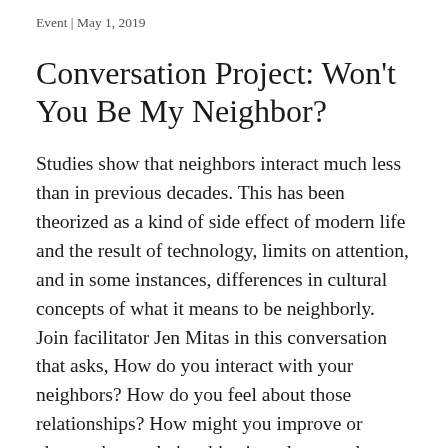Event | May 1, 2019
Conversation Project: Won't You Be My Neighbor?
Studies show that neighbors interact much less than in previous decades. This has been theorized as a kind of side effect of modern life and the result of technology, limits on attention, and in some instances, differences in cultural concepts of what it means to be neighborly. Join facilitator Jen Mitas in this conversation that asks, How do you interact with your neighbors? How do you feel about those relationships? How might you improve or change these relationships in order to make a positive impact on the places you live? This conversation is a chance to reflect on one's own role in the social networks that make up the places we live, and to complicate clichés about neighborliness that may be unconsciously rooted in